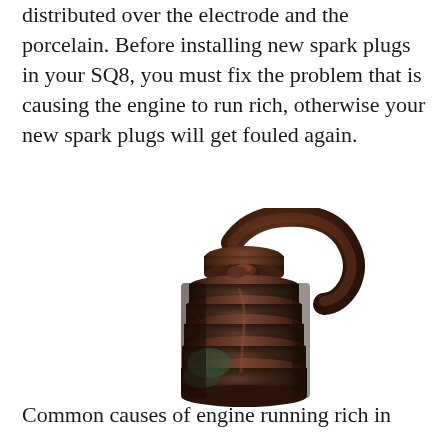distributed over the electrode and the porcelain. Before installing new spark plugs in your SQ8, you must fix the problem that is causing the engine to run rich, otherwise your new spark plugs will get fouled again.
[Figure (photo): Close-up photo of a heavily fouled/corroded spark plug tip showing dark brown/rust colored electrode and threaded body with significant carbon and rust buildup]
Common causes of engine running rich in